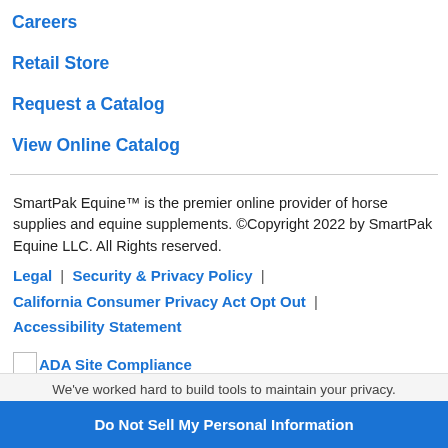Careers
Retail Store
Request a Catalog
View Online Catalog
SmartPak Equine™ is the premier online provider of horse supplies and equine supplements. ©Copyright 2022 by SmartPak Equine LLC. All Rights reserved.
Legal | Security & Privacy Policy | California Consumer Privacy Act Opt Out | Accessibility Statement
[Figure (logo): ADA Site Compliance logo image placeholder]
Accessibility Policy
We've worked hard to build tools to maintain your privacy.
Do Not Sell My Personal Information